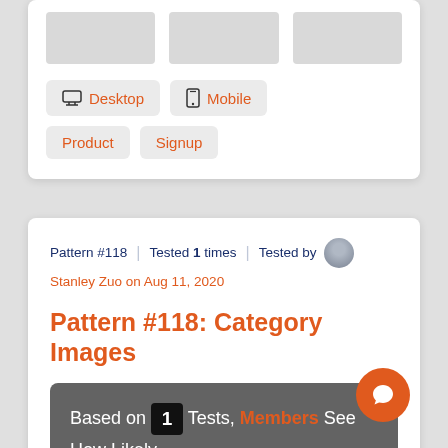[Figure (screenshot): Top portion of a white card showing three gray image placeholders in a row]
Desktop
Mobile
Product
Signup
Pattern #118 | Tested 1 times | Tested by Stanley Zuo on Aug 11, 2020
Pattern #118: Category Images
Based on 1 Tests, Members See How Likely Version This Pattern Wins Or Loses And By Ho